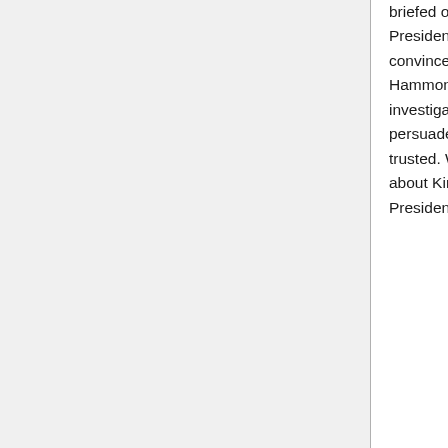briefed on the Stargate program. Vice President Kinsey immediately tries to convince the President to replace General Hammond and SG-1, assisted by investigator Richard Woolsey. The two then persuade Hayes that SG-1 is not to be trusted. Woolsey has a change of heart about Kinsey and backtracks with the President, who remains noncommittal.
Guide | Transcript
7.21 "Lost City Part 1"
In pursuit of the Lost City, Daniel leads SG-1 to an Ancient repository. Under fire from Anubis, Jack again takes the download of Ancient knowledge, knowing it's at the cost of his life. President Hayes removes Hammond from command and installs Dr. Elizabeth Weir, a civilian. Bra'tac arrives with news that Anubis and his forces are